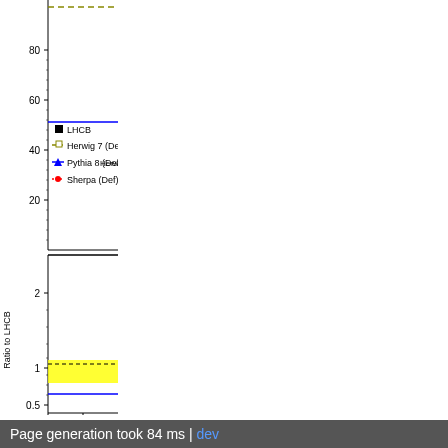[Figure (continuous-plot): Partial view of a physics plot (cropped, right portion visible) showing cross-section values on y-axis (0 to 80+) in upper panel and ratio to LHCB on y-axis (0.5 to 2+) in lower panel, x-axis range 2 to 3+. Legend shows: LHCB (black square), Herwig 7 (Def) (dashed green), Pythia 8 (Def) (solid blue with triangle), Sherpa (Def) (dotted red with circle). Upper panel: green dashed line near top (~92), blue solid line ~51. Lower panel: yellow band around 1, dashed black line ~1.05, blue line ~0.65.]
Page generation took 84 ms | dev